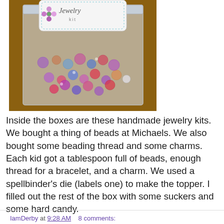[Figure (photo): A clear plastic zip bag containing colorful mixed beads in pink, purple, blue, and red, with a decorative paper topper that reads 'Jewelry Kit' with a flower design.]
Inside the boxes are these handmade jewelry kits. We bought a thing of beads at Michaels. We also bought some beading thread and some charms. Each kid got a tablespoon full of beads, enough thread for a bracelet, and a charm. We used a spellbinder's die (labels one) to make the topper. I filled out the rest of the box with some suckers and some hard candy.
IamDerby at 9:28 AM    8 comments: